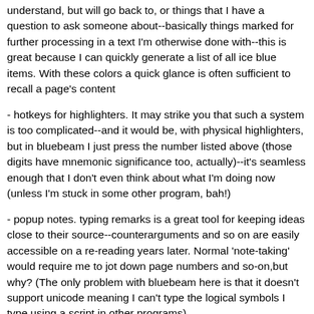understand, but will go back to, or things that I have a question to ask someone about--basically things marked for further processing in a text I'm otherwise done with--this is great because I can quickly generate a list of all ice blue items. With these colors a quick glance is often sufficient to recall a page's content
- hotkeys for highlighters. It may strike you that such a system is too complicated--and it would be, with physical highlighters, but in bluebeam I just press the number listed above (those digits have mnemonic significance too, actually)--it's seamless enough that I don't even think about what I'm doing now (unless I'm stuck in some other program, bah!)
- popup notes. typing remarks is a great tool for keeping ideas close to their source--counterarguments and so on are easily accessible on a re-reading years later. Normal 'note-taking' would require me to jot down page numbers and so-on,but why? (The only problem with bluebeam here is that it doesn't support unicode meaning I can't type the logical symbols I type using a script in other programs)